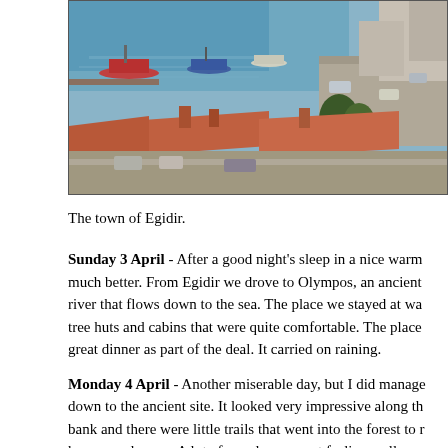[Figure (photo): Aerial or elevated view of the town of Egidir, showing a harbor with boats, streets with vehicles, red-tiled rooftops, and surrounding landscape.]
The town of Egidir.
Sunday 3 April - After a good night's sleep in a nice warm much better. From Egidir we drove to Olympos, an ancient river that flows down to the sea. The place we stayed at wa tree huts and cabins that were quite comfortable. The place great dinner as part of the deal. It carried on raining.
Monday 4 April - Another miserable day, but I did manage down to the ancient site. It looked very impressive along th bank and there were little trails that went into the forest to houses and so on. A lot of people were not feeling well so r was happening around the group, but I was feeling better. T did another superb dinner, especially the soup.